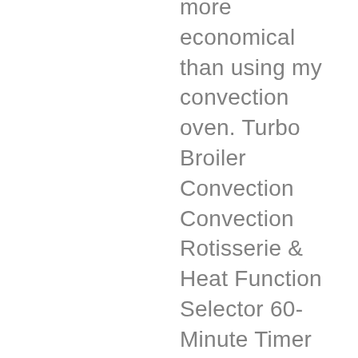more economical than using my convection oven. Turbo Broiler Convection Convection Rotisserie & Heat Function Selector 60-Minute Timer Auto Shut-off & Cooking End Signal Teflex Coated Inner Capacity Temperature Control from ... The turbo broiler is an essential kitchen appliance in the Philippines that can make cooking easy and fun. Beat together 3 large eggs, ½ cup brown sugar, and a pinch of salt until light in color. Shop the Imarflex CVO900DS Turbo Broiler featuring a